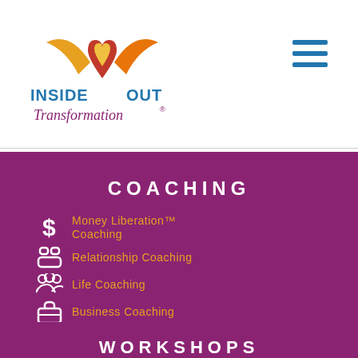[Figure (logo): Inside Out Transformation logo with heart/wings graphic in orange, red, gold and text 'INSIDE OUT Transformation']
[Figure (other): Hamburger menu icon with three horizontal blue lines]
COACHING
Money Liberation™ Coaching
Relationship Coaching
Life Coaching
Business Coaching
Spiritual Coaching
WORKSHOPS